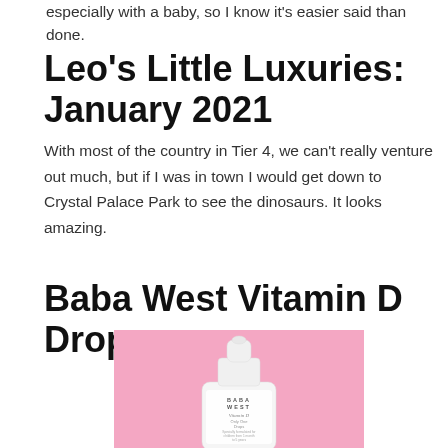especially with a baby, so I know it's easier said than done.
Leo's Little Luxuries: January 2021
With most of the country in Tier 4, we can't really venture out much, but if I was in town I would get down to Crystal Palace Park to see the dinosaurs. It looks amazing.
Baba West Vitamin D Drops
[Figure (photo): A white dropper bottle of Baba West Vitamin D Drops on a pink background. The label reads: BABA WEST, Vitamin D, Only One Drop, Specially formulated for children from 1 month to 5 years, 3 months supply (3ml), FOOD SUPPLEMENT.]